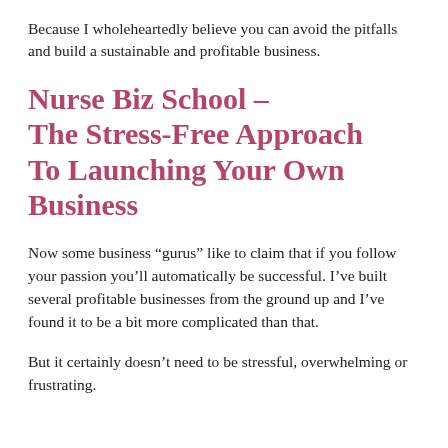Because I wholeheartedly believe you can avoid the pitfalls and build a sustainable and profitable business.
Nurse Biz School – The Stress-Free Approach To Launching Your Own Business
Now some business “gurus” like to claim that if you follow your passion you’ll automatically be successful. I’ve built several profitable businesses from the ground up and I’ve found it to be a bit more complicated than that.
But it certainly doesn’t need to be stressful, overwhelming or frustrating.